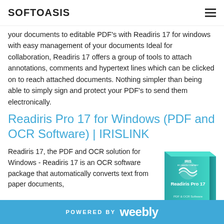SOFTOASIS
your documents to editable PDF's with Readiris 17 for windows with easy management of your documents Ideal for collaboration, Readiris 17 offers a group of tools to attach annotations, comments and hypertext lines which can be clicked on to reach attached documents. Nothing simpler than being able to simply sign and protect your PDF's to send them electronically.
Readiris Pro 17 for Windows (PDF and OCR Software) | IRISLINK
Readiris 17, the PDF and OCR solution for Windows - Readiris 17 is an OCR software package that automatically converts text from paper documents,
[Figure (photo): Readiris Pro 17 product box with teal/turquoise color scheme and IRIS branding]
POWERED BY weebly